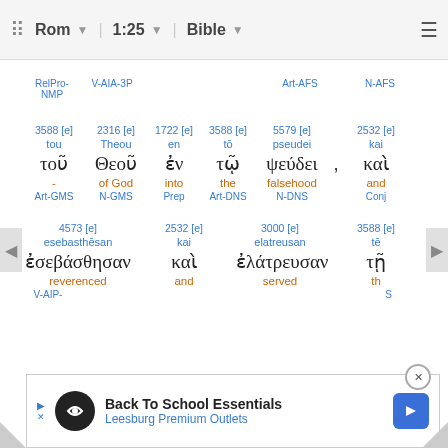Rom  1:25  Bible
RelPro-NMP  V-AIA-3P  Art-AFS  N-AFS
3588 [e] tou τοῦ - Art-GMS | 2316 [e] Theou Θεοῦ of God N-GMS | 1722 [e] en ἐν into Prep | 3588 [e] tō τῷ the Art-DNS | 5579 [e] pseudei ψεύδει , falsehood N-DNS | 2532 [e] kai καὶ and Conj
4573 [e] esebasthēsan ἐσεβάσθησαν reverenced V-AIP- | 2532 [e] kai καὶ and | 3000 [e] elatreusan ἐλάτρευσαν served | 3588 [e] tē τῇ th